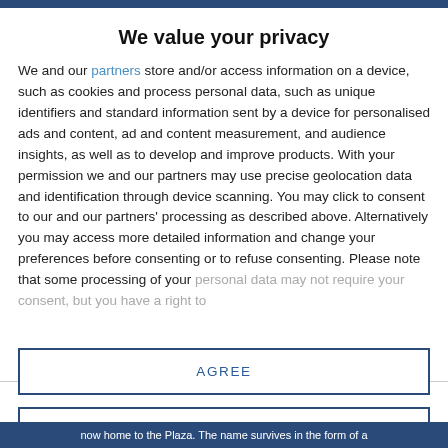We value your privacy
We and our partners store and/or access information on a device, such as cookies and process personal data, such as unique identifiers and standard information sent by a device for personalised ads and content, ad and content measurement, and audience insights, as well as to develop and improve products. With your permission we and our partners may use precise geolocation data and identification through device scanning. You may click to consent to our and our partners' processing as described above. Alternatively you may access more detailed information and change your preferences before consenting or to refuse consenting. Please note that some processing of your personal data may not require your consent, but you have a right to
AGREE
MORE OPTIONS
now home to the Plaza. The name survives in the form of a